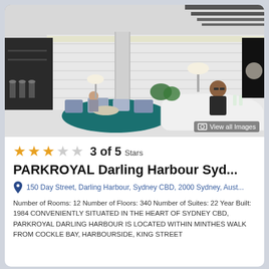[Figure (photo): Hotel lobby interior showing modern white curved reception desk with staff member, seating area with teal circular rug, white brick wall, and pendant lighting]
3 of 5 Stars
PARKROYAL Darling Harbour Syd...
150 Day Street, Darling Harbour, Sydney CBD, 2000 Sydney, Aust...
Number of Rooms: 12 Number of Floors: 340 Number of Suites: 22 Year Built: 1984 CONVENIENTLY SITUATED IN THE HEART OF SYDNEY CBD, PARKROYAL DARLING HARBOUR IS LOCATED WITHIN MINTHES WALK FROM COCKLE BAY, HARBOURSIDE, KING STREET